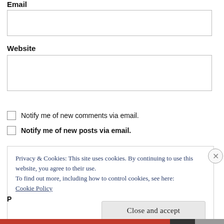Email
Website
Notify me of new comments via email.
Notify me of new posts via email.
Privacy & Cookies: This site uses cookies. By continuing to use this website, you agree to their use.
To find out more, including how to control cookies, see here:
Cookie Policy
Close and accept